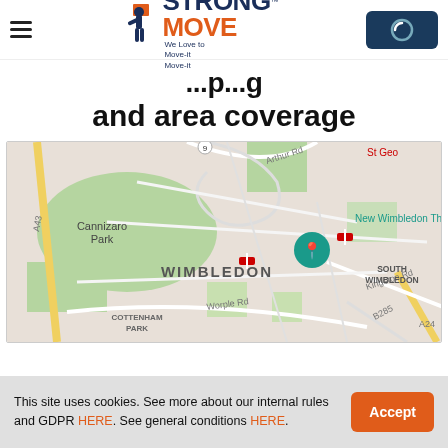STRONG MOVE™ — We Love to Move-it Move-it
and area coverage
[Figure (map): Google Maps screenshot showing Wimbledon area including Cannizaro Park, New Wimbledon Theatre, South Wimbledon, Cottenham Park, Arthur Rd, Worple Rd, Kingston Rd, B285, A24, A3 roads and a location pin marker.]
This site uses cookies. See more about our internal rules and GDPR HERE. See general conditions HERE.